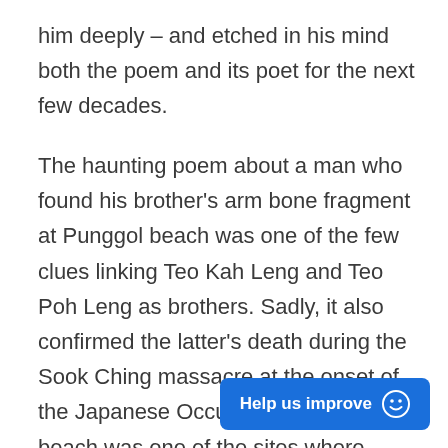him deeply – and etched in his mind both the poem and its poet for the next few decades.
The haunting poem about a man who found his brother's arm bone fragment at Punggol beach was one of the few clues linking Teo Kah Leng and Teo Poh Leng as brothers. Sadly, it also confirmed the latter's death during the Sook Ching massacre at the onset of the Japanese Occupation – Punggol beach was one of the sites where Chinese men had been slain by Japanese soldiers.13